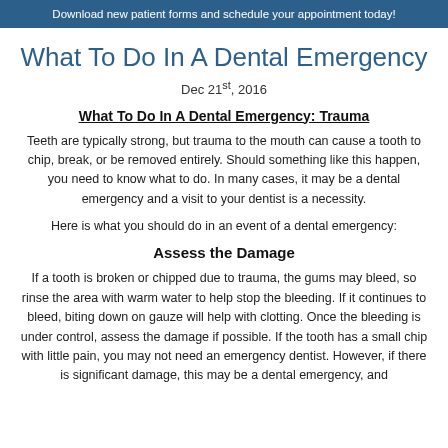Download new patient forms and schedule your appointment today!
What To Do In A Dental Emergency
Dec 21st, 2016
What To Do In A Dental Emergency: Trauma
Teeth are typically strong, but trauma to the mouth can cause a tooth to chip, break, or be removed entirely. Should something like this happen, you need to know what to do. In many cases, it may be a dental emergency and a visit to your dentist is a necessity.
Here is what you should do in an event of a dental emergency:
Assess the Damage
If a tooth is broken or chipped due to trauma, the gums may bleed, so rinse the area with warm water to help stop the bleeding. If it continues to bleed, biting down on gauze will help with clotting. Once the bleeding is under control, assess the damage if possible. If the tooth has a small chip with little pain, you may not need an emergency dentist. However, if there is significant damage, this may be a dental emergency, and